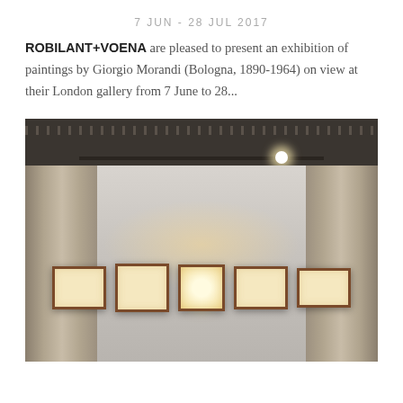7 JUN - 28 JUL 2017
ROBILANT+VOENA are pleased to present an exhibition of paintings by Giorgio Morandi (Bologna, 1890-1964) on view at their London gallery from 7 June to 28...
[Figure (photo): Interior of an art gallery showing five small framed paintings hung on a light gray wall, flanked by two large stone columns, with track lighting above illuminating the artworks.]